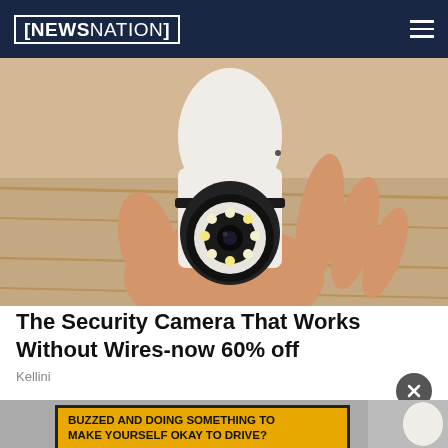NEWSNATION
[Figure (photo): A hand holding a small white wireless security camera with an LED ring around the lens, shot against a warm wood background.]
The Security Camera That Works Without Wires-now 60% off
Kellini
[Figure (infographic): Advertisement banner with gold/yellow background and bold black text reading: BUZZED AND DOING SOMETHING TO MAKE YOURSELF OKAY TO DRIVE?]